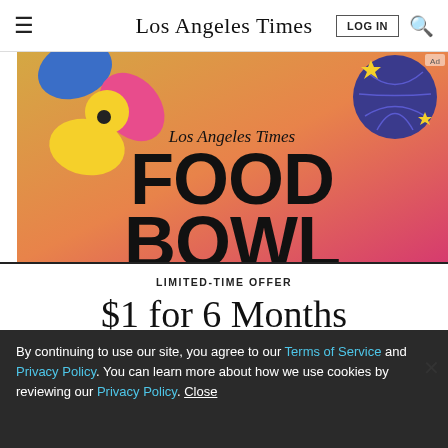Los Angeles Times  LOG IN  [search]
[Figure (photo): Los Angeles Times Food Bowl advertisement banner with colorful illustrated graphics — a flower/snack shape on left, pomegranate on right, gradient gold-to-pink background, text reading 'Los Angeles Times FOOD BOWL']
LIMITED-TIME OFFER
$1 for 6 Months
SUBSCRIBE NOW
By continuing to use our site, you agree to our Terms of Service and Privacy Policy. You can learn more about how we use cookies by reviewing our Privacy Policy. Close